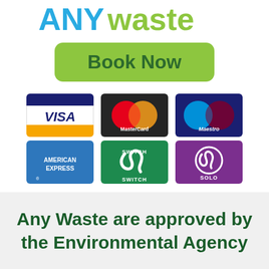[Figure (logo): ANYwaste logo with 'ANY' in blue and 'waste' in green]
[Figure (illustration): Green rounded rectangle 'Book Now' button]
[Figure (infographic): Six payment method logos arranged in two rows of three: Visa, MasterCard, Maestro (top row), American Express, Switch, Solo (bottom row)]
Any Waste are approved by the Environmental Agency